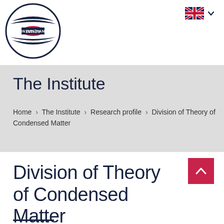[Figure (logo): INTibs PAN logo — circular logo with dark navy border, dark navy curved bands/wings, red oval center, white text reading INTibs PAN]
[Figure (illustration): UK flag icon with dropdown chevron for language selection]
The Institute
Home > The Institute > Research profile > Division of Theory of Condensed Matter
Division of Theory of Condensed Matter